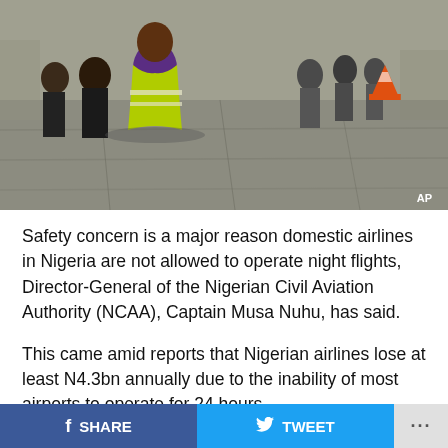[Figure (photo): Airport ground scene with a worker in a yellow/green reflective vest and purple shirt standing with other people on a tarmac. An orange traffic cone is visible in the background. AP watermark in bottom right.]
Safety concern is a major reason domestic airlines in Nigeria are not allowed to operate night flights, Director-General of the Nigerian Civil Aviation Authority (NCAA), Captain Musa Nuhu, has said.
This came amid reports that Nigerian airlines lose at least N4.3bn annually due to the inability of most airports to operate for 24 hours.
The DG, represented by the Director of Airports and Aerodrome Standard, Capt. Tayib Odunowo, spoke at the 26th conference of League of Airports and Aviation
SHARE   TWEET   ...